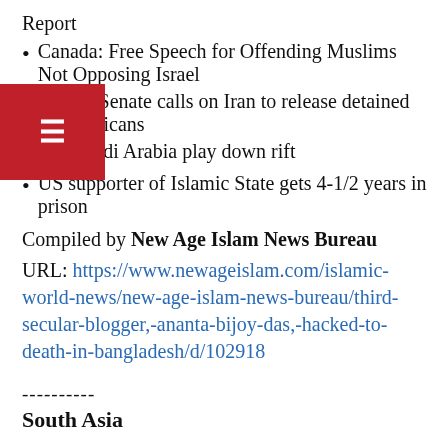Report
Canada: Free Speech for Offending Muslims Not Opposing Israel
U.S. Senate calls on Iran to release detained Americans
US, Saudi Arabia play down rift
US supporter of Islamic State gets 4-1/2 years in prison
Compiled by New Age Islam News Bureau
URL: https://www.newageislam.com/islamic-world-news/new-age-islam-news-bureau/third-secular-blogger,-ananta-bijoy-das,-hacked-to-death-in-bangladesh/d/102918
----------
South Asia